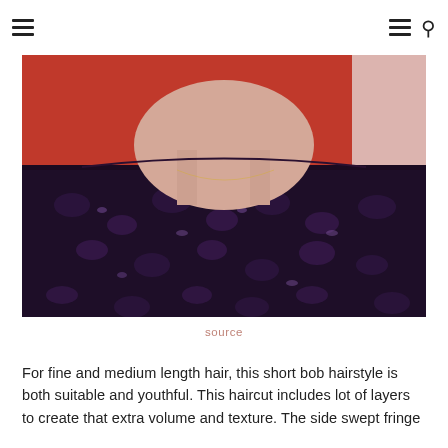≡   ≡ 🔍
[Figure (photo): Close-up photo of a person's neck and shoulders wearing a black and purple textured/brocade top against a red background. The photo is cropped showing below the chin to the upper chest area.]
source
For fine and medium length hair, this short bob hairstyle is both suitable and youthful. This haircut includes lot of layers to create that extra volume and texture. The side swept fringe